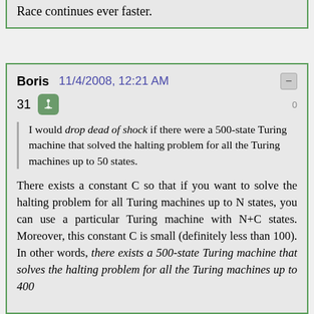Race continues ever faster.
Boris   11/4/2008, 12:21 AM
31
I would drop dead of shock if there were a 500-state Turing machine that solved the halting problem for all the Turing machines up to 50 states.
There exists a constant C so that if you want to solve the halting problem for all Turing machines up to N states, you can use a particular Turing machine with N+C states. Moreover, this constant C is small (definitely less than 100). In other words, there exists a 500-state Turing machine that solves the halting problem for all the Turing machines up to 400